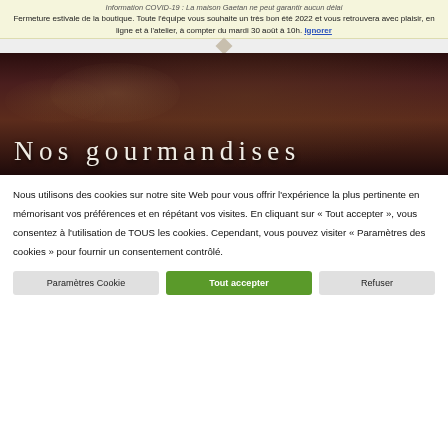Information COVID-19 : La maison Gaetan ne peut garantir aucun délai
Fermeture estivale de la boutique. Toute l'équipe vous souhaite un très bon été 2022 et vous retrouvera avec plaisir, en ligne et à l'atelier, à compter du mardi 30 août à 10h. Ignorer
[Figure (photo): Dark banner image with cookies/pastries in background, overlay text 'Nos gourmandises' in serif font]
Nous utilisons des cookies sur notre site Web pour vous offrir l'expérience la plus pertinente en mémorisant vos préférences et en répétant vos visites. En cliquant sur « Tout accepter », vous consentez à l'utilisation de TOUS les cookies. Cependant, vous pouvez visiter « Paramètres des cookies » pour fournir un consentement contrôlé.
Paramètres Cookie | Tout accepter | Refuser